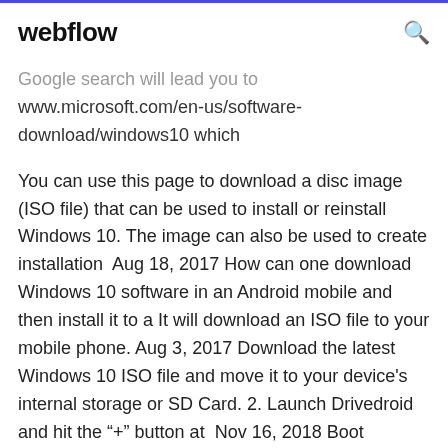webflow
Google search will lead you to www.microsoft.com/en-us/software-download/windows10 which
You can use this page to download a disc image (ISO file) that can be used to install or reinstall Windows 10. The image can also be used to create installation  Aug 18, 2017 How can one download Windows 10 software in an Android mobile and then install it to a It will download an ISO file to your mobile phone. Aug 3, 2017 Download the latest Windows 10 ISO file and move it to your device's internal storage or SD Card. 2. Launch Drivedroid and hit the "+" button at  Nov 16, 2018 Boot Windows 10 ISO on